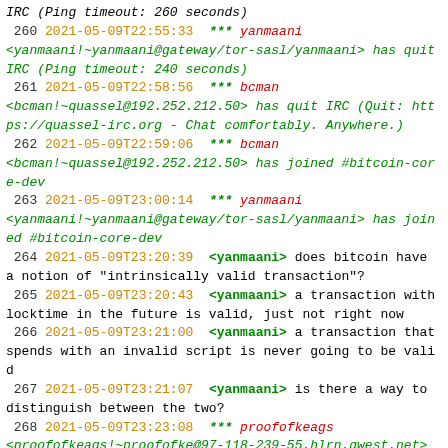IRC (Ping timeout: 260 seconds)
260  2021-05-09T22:55:33  *** yanmaani <yanmaani!~yanmaani@gateway/tor-sasl/yanmaani> has quit IRC (Ping timeout: 240 seconds)
261  2021-05-09T22:58:56  *** bcman <bcman!~quassel@192.252.212.50> has quit IRC (Quit: https://quassel-irc.org - Chat comfortably. Anywhere.)
262  2021-05-09T22:59:06  *** bcman <bcman!~quassel@192.252.212.50> has joined #bitcoin-core-dev
263  2021-05-09T23:00:14  *** yanmaani <yanmaani!~yanmaani@gateway/tor-sasl/yanmaani> has joined #bitcoin-core-dev
264  2021-05-09T23:20:39  <yanmaani> does bitcoin have a notion of "intrinsically valid transaction"?
265  2021-05-09T23:20:43  <yanmaani> a transaction with locktime in the future is valid, just not right now
266  2021-05-09T23:21:00  <yanmaani> a transaction that spends with an invalid script is never going to be valid
267  2021-05-09T23:21:07  <yanmaani> is there a way to distinguish between the two?
268  2021-05-09T23:23:08  *** proofofkeags <proofofkeags!~proofofke@97-118-239-55.hlrn.qwest.net> has joined #bitcoin-core-dev
269  2021-05-09T23:24:09  *** bitcoin-git <bitcoin-git!~bitcoin-g@x0f.org> has joined #bitcoin-core-dev
270  2021-05-09T23:24:10  <bitcoin-git> [bitcoin]